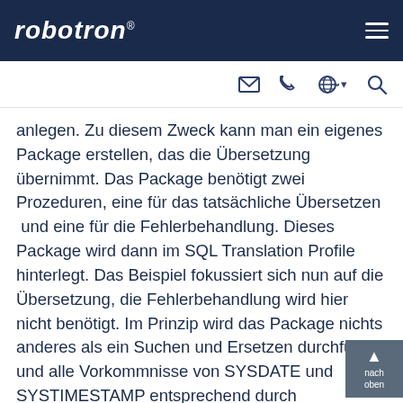robotron®
anlegen. Zu diesem Zweck kann man ein eigenes Package erstellen, das die Übersetzung übernimmt. Das Package benötigt zwei Prozeduren, eine für das tatsächliche Übersetzen  und eine für die Fehlerbehandlung. Dieses Package wird dann im SQL Translation Profile hinterlegt. Das Beispiel fokussiert sich nun auf die Übersetzung, die Fehlerbehandlung wird hier nicht benötigt. Im Prinzip wird das Package nichts anderes als ein Suchen und Ersetzen durchführen und alle Vorkommnisse von SYSDATE und SYSTIMESTAMP entsprechend durch CURRENT_DATE und CURRENT_TIMESTAMP ersetzen.